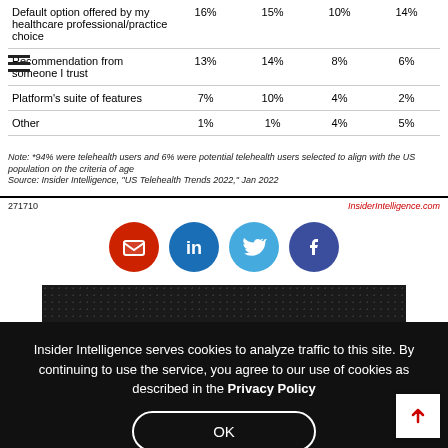|  |  |  |  |  |
| --- | --- | --- | --- | --- |
| Default option offered by my healthcare professional/practice choice | 16% | 15% | 10% | 14% |
| Recommendation from someone I trust | 13% | 14% | 8% | 6% |
| Platform's suite of features | 7% | 10% | 4% | 2% |
| Other | 1% | 1% | 4% | 5% |
Note: *94% were telehealth users and 6% were potential telehealth users selected to align with the US population on the criteria of age
Source: Insider Intelligence, "US Telehealth Trends 2022," Jan 2022
271710   InsiderIntelligence.com
[Figure (infographic): Social share icons: email (red), LinkedIn (blue), Twitter (light blue), Facebook (dark blue)]
[Figure (screenshot): Dark background preview image with dot pattern]
Insider Intelligence serves cookies to analyze traffic to this site. By continuing to use the service, you agree to our use of cookies as described in the Privacy Policy